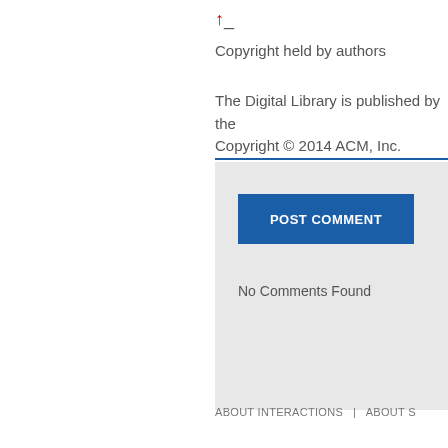↑_
Copyright held by authors
The Digital Library is published by the Copyright © 2014 ACM, Inc.
POST COMMENT
No Comments Found
ABOUT INTERACTIONS   |   ABOUT S